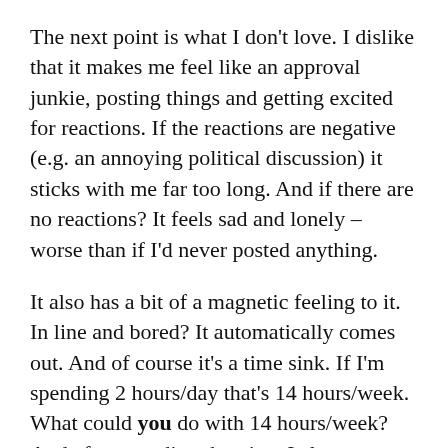The next point is what I don't love. I dislike that it makes me feel like an approval junkie, posting things and getting excited for reactions. If the reactions are negative (e.g. an annoying political discussion) it sticks with me far too long. And if there are no reactions? It feels sad and lonely – worse than if I'd never posted anything.
It also has a bit of a magnetic feeling to it. In line and bored? It automatically comes out. And of course it's a time sink. If I'm spending 2 hours/day that's 14 hours/week. What could you do with 14 hours/week? And after spending that time I almost always feel unproductive and like I've wasted time.
I also do notice the memory and attention span impact. I'm not moved to check my phone while reading a book or watching TV. More disturbingly,